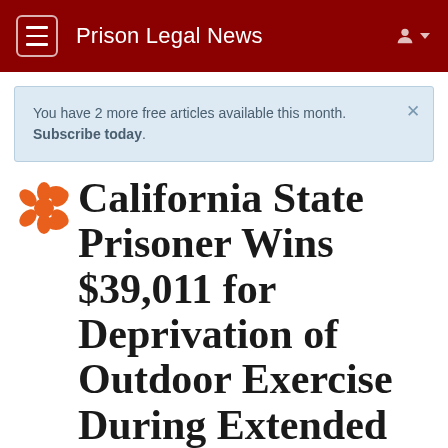Prison Legal News
You have 2 more free articles available this month. Subscribe today.
California State Prisoner Wins $39,011 for Deprivation of Outdoor Exercise During Extended Lockdowns
Loaded on JUNE 15, 2008 by Marvin Mentor published in Prison Legal News June, 2008, page 36
Filed under: Exercise, Lockdowns, Attorney Fee Awards, Appointment of Counsel, Civil Procedure, Damages. Location: California.